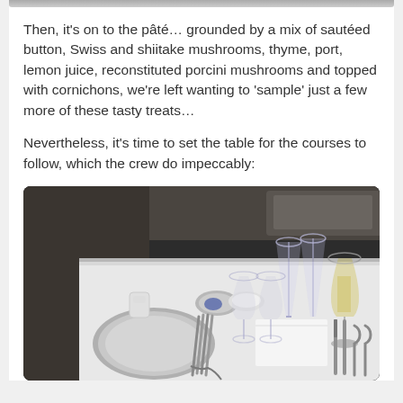[Figure (photo): Partial top edge of a photo visible at the very top of the page]
Then, it's on to the pâté… grounded by a mix of sautéed button, Swiss and shiitake mushrooms, thyme, port, lemon juice, reconstituted porcini mushrooms and topped with cornichons, we're left wanting to 'sample' just a few more of these tasty treats…
Nevertheless, it's time to set the table for the courses to follow, which the crew do impeccably:
[Figure (photo): Photograph of a first-class airline dining table set with multiple wine glasses, plates, cutlery including forks, knives, and spoons arranged on a white tablecloth, with a glass of white wine visible.]